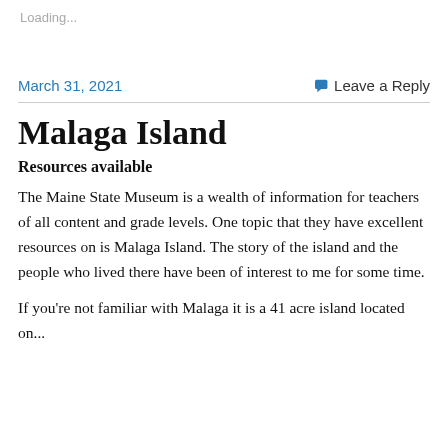Loading...
March 31, 2021
Leave a Reply
Malaga Island
Resources available
The Maine State Museum is a wealth of information for teachers of all content and grade levels. One topic that they have excellent resources on is Malaga Island. The story of the island and the people who lived there have been of interest to me for some time.
If you're not familiar with Malaga it is a 41 acre island located on...